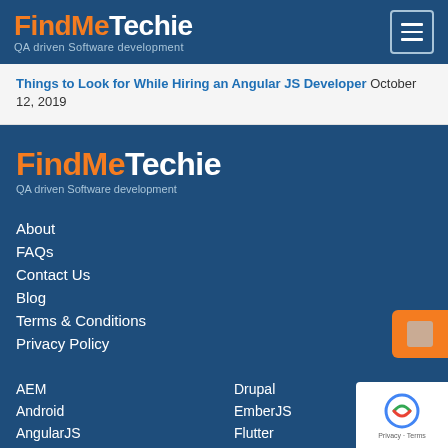FindMeTechie - QA driven Software development
Things to Look for While Hiring an Angular JS Developer October 12, 2019
[Figure (logo): FindMeTechie logo with orange FindMe and white Techie text, subtext QA driven Software development]
About
FAQs
Contact Us
Blog
Terms & Conditions
Privacy Policy
AEM
Drupal
Android
EmberJS
AngularJS
Flutter
BackboneJS
HTML